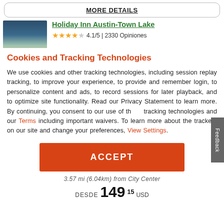MORE DETAILS
[Figure (photo): Photo of Holiday Inn Austin-Town Lake hotel exterior]
Holiday Inn Austin-Town Lake
4.1/5 | 2330 Opiniones
Cookies and Tracking Technologies
We use cookies and other tracking technologies, including session replay tracking, to improve your experience, to provide and remember login, to personalize content and ads, to record sessions for later playback, and to optimize site functionality. Read our Privacy Statement to learn more. By continuing, you consent to our use of these tracking technologies and our Terms including important waivers. To learn more about the trackers on our site and change your preferences, View Settings.
ACCEPT
3.57 mi (6.04km) from City Center
DESDE 149 .15 USD